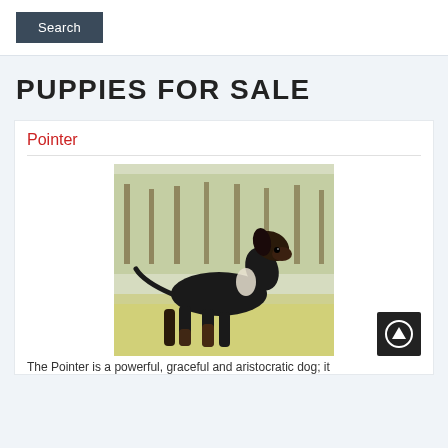Search
PUPPIES FOR SALE
Pointer
[Figure (photo): A dark brown/black Pointer dog standing in a field with dry grass and trees in the background.]
The Pointer is a powerful, graceful and aristocratic dog; it